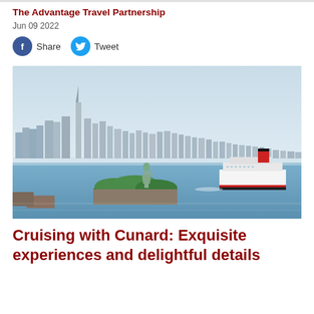The Advantage Travel Partnership
Jun 09 2022
Share   Tweet
[Figure (photo): Aerial photo of the Statue of Liberty island with the Manhattan skyline in the background and a large Cunard cruise ship (Queen Mary 2) sailing past, under a hazy blue sky.]
Cruising with Cunard: Exquisite experiences and delightful details